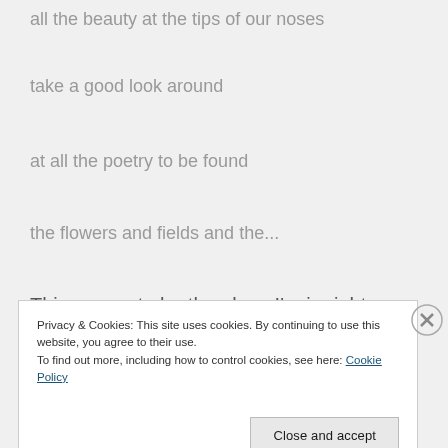all the beauty at the tips of our noses
take a good look around
at all the poetry to be found
the flowers and fields and the...
This seems to be the place I'm in right now. The
Privacy & Cookies: This site uses cookies. By continuing to use this website, you agree to their use.
To find out more, including how to control cookies, see here: Cookie Policy